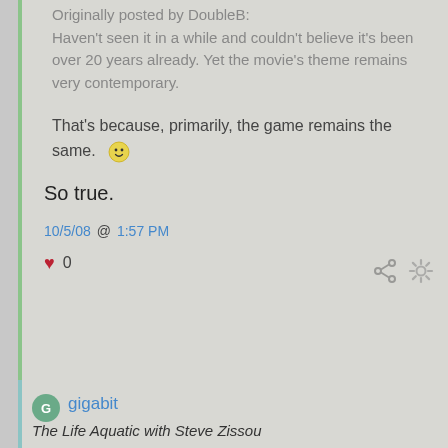Originally posted by DoubleB: Haven't seen it in a while and couldn't believe it's been over 20 years already. Yet the movie's theme remains very contemporary.
That's because, primarily, the game remains the same. 🙂
So true.
10/5/08 @ 1:57 PM
♥ 0
gigabit
The Life Aquatic with Steve Zissou